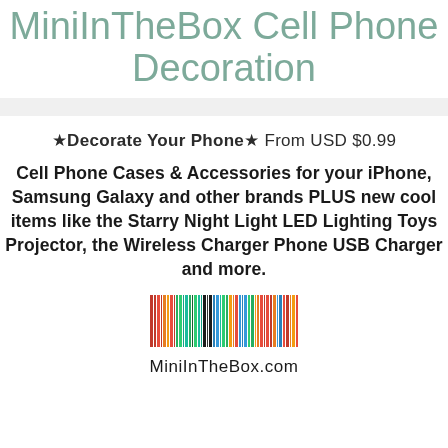MiniInTheBox Cell Phone Decoration
★Decorate Your Phone★ From USD $0.99
Cell Phone Cases & Accessories for your iPhone, Samsung Galaxy and other brands PLUS new cool items like the Starry Night Light LED Lighting Toys Projector, the Wireless Charger Phone USB Charger and more.
[Figure (logo): MiniInTheBox.com colorful barcode logo with text 'MiniInTheBox.com' below]